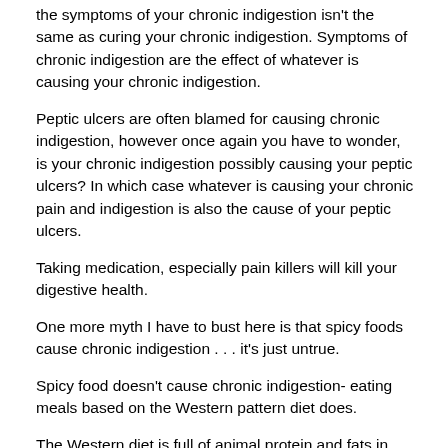the symptoms of your chronic indigestion isn't the same as curing your chronic indigestion. Symptoms of chronic indigestion are the effect of whatever is causing your chronic indigestion.
Peptic ulcers are often blamed for causing chronic indigestion, however once again you have to wonder, is your chronic indigestion possibly causing your peptic ulcers? In which case whatever is causing your chronic pain and indigestion is also the cause of your peptic ulcers.
Taking medication, especially pain killers will kill your digestive health.
One more myth I have to bust here is that spicy foods cause chronic indigestion . . . it's just untrue.
Spicy food doesn't cause chronic indigestion- eating meals based on the Western pattern diet does.
The Western diet is full of animal protein and fats in large quantities. The ticket to curing your chronic indigestion is to eat smaller portions more often, rather than 2 or 3 large meals a day.
It will take less stomach acid to digest your food. Plus eating more diverse foods will offer a more diverse nutritional profile, feeding your organs more natural sources of enzymes, vitamins and their co-factors.
Animal protein and fats stay in the stomach longer to break down. They also create extra waste your body has to deal with. Eating too